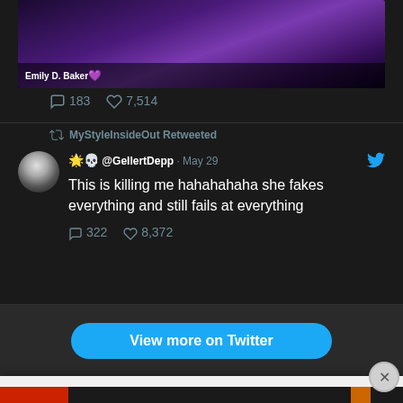[Figure (screenshot): Video thumbnail showing a woman with purple hair, with label 'Emily D. Baker' and a heart emoji]
183  7,514
MyStyleInsideOut Retweeted
🌟💀 @GellertDepp · May 29
This is killing me hahahahaha she fakes everything and still fails at everything
322  8,372
[Figure (other): View more on Twitter button — blue rounded rectangle]
Privacy & Cookies: This site uses cookies. By continuing to use this website, you agree to their use.
To find out more, including how to control cookies, see here: Cookie Policy
Close and accept